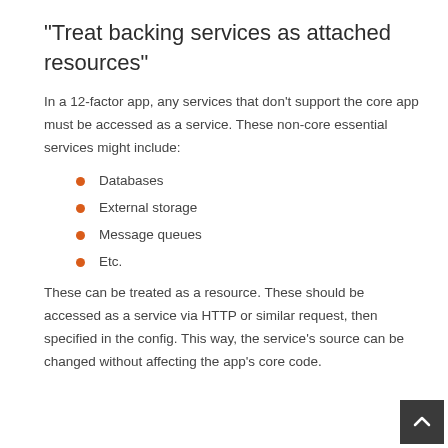“Treat backing services as attached resources”
In a 12-factor app, any services that don’t support the core app must be accessed as a service. These non-core essential services might include:
Databases
External storage
Message queues
Etc.
These can be treated as a resource. These should be accessed as a service via HTTP or similar request, then specified in the config. This way, the service’s source can be changed without affecting the app’s core code.